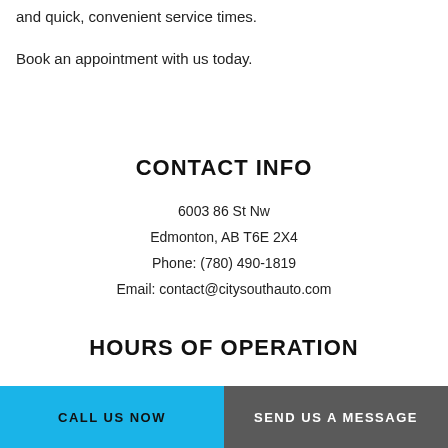and quick, convenient service times.
Book an appointment with us today.
CONTACT INFO
6003 86 St Nw
Edmonton, AB T6E 2X4
Phone: (780) 490-1819
Email: contact@citysouthauto.com
HOURS OF OPERATION
CALL US NOW | SEND US A MESSAGE